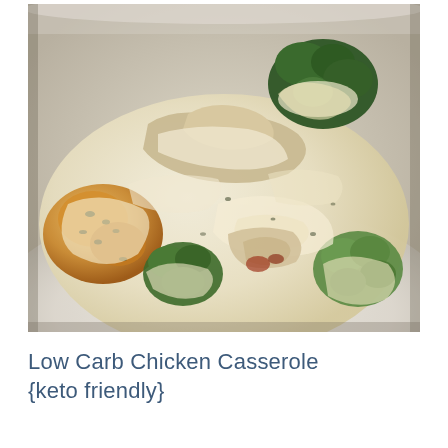[Figure (photo): Close-up photograph of a low carb chicken casserole dish on a white plate, showing baked chicken pieces, broccoli florets, and a creamy melted cheese sauce.]
Low Carb Chicken Casserole {keto friendly}